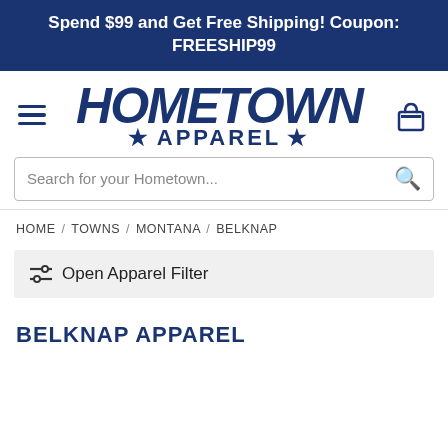Spend $99 and Get Free Shipping! Coupon: FREESHIP99
[Figure (logo): Hometown Apparel logo in navy blue collegiate style lettering with stars, flanked by a hamburger menu icon and a shopping bag/cart icon]
Search for your Hometown...
HOME / TOWNS / MONTANA / BELKNAP
Open Apparel Filter
BELKNAP APPAREL